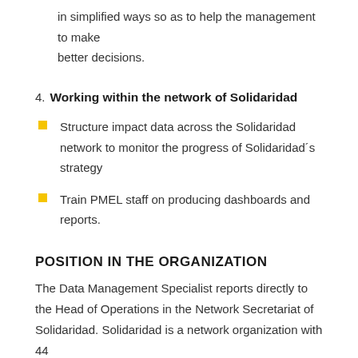in simplified ways so as to help the management to make better decisions.
4. Working within the network of Solidaridad
Structure impact data across the Solidaridad network to monitor the progress of Solidaridad´s strategy
Train PMEL staff on producing dashboards and reports.
POSITION IN THE ORGANIZATION
The Data Management Specialist reports directly to the Head of Operations in the Network Secretariat of Solidaridad. Solidaridad is a network organization with 44